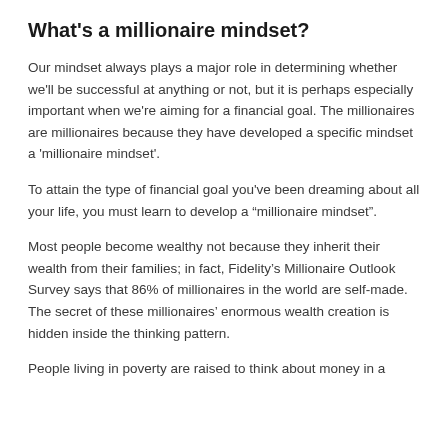What's a millionaire mindset?
Our mindset always plays a major role in determining whether we'll be successful at anything or not, but it is perhaps especially important when we're aiming for a financial goal. The millionaires are millionaires because they have developed a specific mindset a 'millionaire mindset'.
To attain the type of financial goal you've been dreaming about all your life, you must learn to develop a “millionaire mindset”.
Most people become wealthy not because they inherit their wealth from their families; in fact, Fidelity’s Millionaire Outlook Survey says that 86% of millionaires in the world are self-made. The secret of these millionaires’ enormous wealth creation is hidden inside the thinking pattern.
People living in poverty are raised to think about money in a